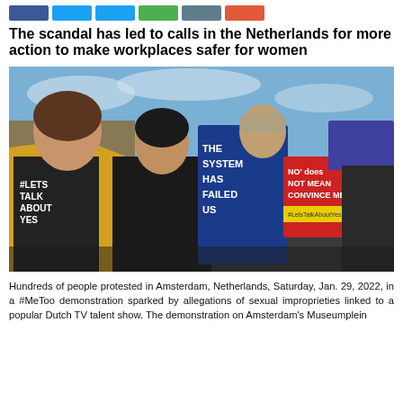[Figure (other): Row of six colored social media sharing icon buttons: dark blue (Facebook), light blue (Twitter), light blue (Twitter), green, grey-green, and red-orange]
The scandal has led to calls in the Netherlands for more action to make workplaces safer for women
[Figure (photo): Protest photo showing several young women outdoors holding signs reading '#LETS TALK ABOUT YES', 'THE SYSTEM HAS FAILED US', and 'NO does NOT MEAN CONVINCE ME' with #LetsTalkAboutYes hashtag, at a #MeToo demonstration in Amsterdam, Netherlands, Saturday Jan. 29, 2022.]
Hundreds of people protested in Amsterdam, Netherlands, Saturday, Jan. 29, 2022, in a #MeToo demonstration sparked by allegations of sexual improprieties linked to a popular Dutch TV talent show. The demonstration on Amsterdam's Museumplein